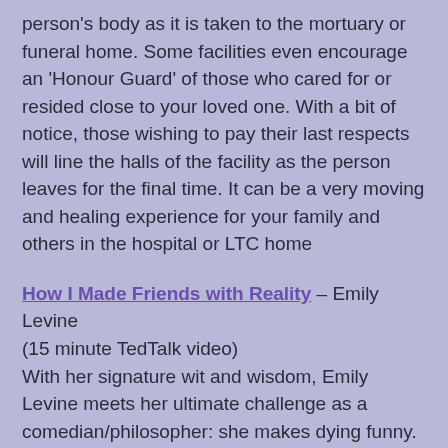person's body as it is taken to the mortuary or funeral home. Some facilities even encourage an 'Honour Guard' of those who cared for or resided close to your loved one. With a bit of notice, those wishing to pay their last respects will line the halls of the facility as the person leaves for the final time. It can be a very moving and healing experience for your family and others in the hospital or LTC home
How I Made Friends with Reality – Emily Levine (15 minute TedTalk video)
With her signature wit and wisdom, Emily Levine meets her ultimate challenge as a comedian/philosopher: she makes dying funny. In this personal talk (10 months before her own death), she takes us on her journey to make friends with reality -- and peace with death. Life is an enormous gift, Levine says: "You enrich it as best you can, and then you give it back."